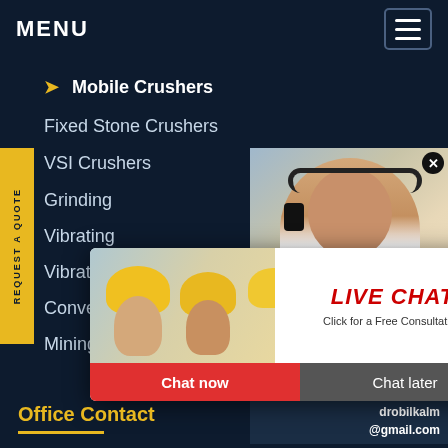MENU
Mobile Crushers
Fixed Stone Crushers
VSI Crushers
Grinding
Vibrating
Vibrating
Conveyors
Mining Washers
[Figure (screenshot): Live chat popup with construction workers photo, LIVE CHAT heading, Chat now and Chat later buttons]
[Figure (photo): Customer service woman with headset smiling, with Quotation button and Enquiry link]
REQUEST A QUOTE
have any requests, click here.
Quotation
Enquiry
drobilkalm@gmail.com
Office Contact